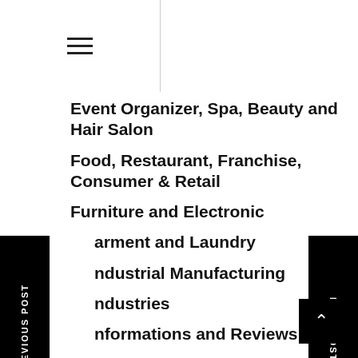Navigation header with hamburger menus and search icon
Event Organizer, Spa, Beauty and Hair Salon
Food, Restaurant, Franchise, Consumer & Retail
Furniture and Electronic
Garment and Laundry
Industrial Manufacturing
Industries
Informations and Reviews
Infrastructure, Government, Healthcare & Life Science
Insurance
Investing
Loans and Mortgage
Market
Mining, Plantation, Forestry and Agryculture
News
Private Enterprise
Property, Construction
Publication